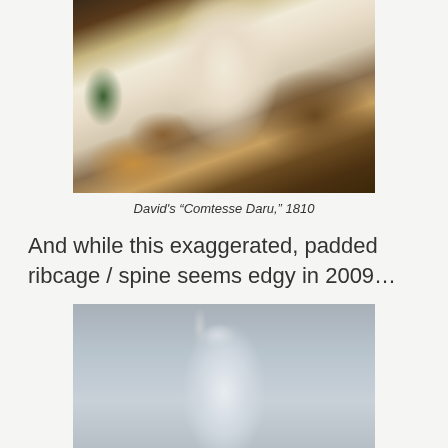[Figure (photo): Painting - David's 'Comtesse Daru,' 1810, showing a woman in a white Empire-style dress with green shawl and floral patterned fabric]
David's “Comtesse Daru,” 1810
And while this exaggerated, padded ribcage / spine seems edgy in 2009…
[Figure (photo): Black and white photograph of a figure in a white latex or tight suit from behind, showing an exaggerated padded ribcage / spine form]